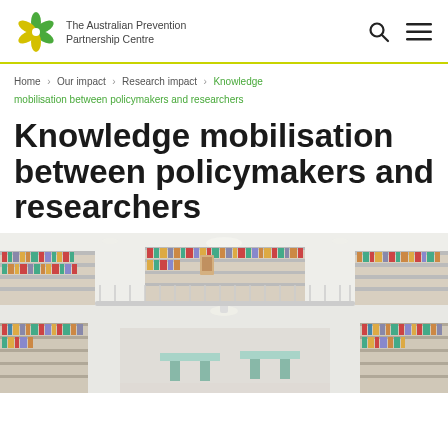The Australian Prevention Partnership Centre
Home > Our impact > Research impact > Knowledge mobilisation between policymakers and researchers
Knowledge mobilisation between policymakers and researchers
[Figure (photo): Interior of a large modern library with multiple floors, white staircases, and bookshelves filled with colorful books]